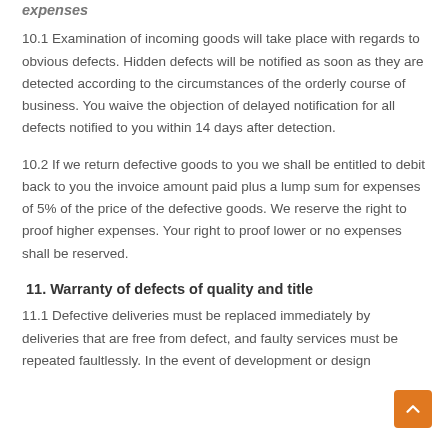expenses
10.1 Examination of incoming goods will take place with regards to obvious defects. Hidden defects will be notified as soon as they are detected according to the circumstances of the orderly course of business. You waive the objection of delayed notification for all defects notified to you within 14 days after detection.
10.2 If we return defective goods to you we shall be entitled to debit back to you the invoice amount paid plus a lump sum for expenses of 5% of the price of the defective goods. We reserve the right to proof higher expenses. Your right to proof lower or no expenses shall be reserved.
11. Warranty of defects of quality and title
11.1 Defective deliveries must be replaced immediately by deliveries that are free from defect, and faulty services must be repeated faultlessly. In the event of development or design